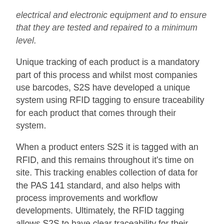electrical and electronic equipment and to ensure that they are tested and repaired to a minimum level.
Unique tracking of each product is a mandatory part of this process and whilst most companies use barcodes, S2S have developed a unique system using RFID tagging to ensure traceability for each product that comes through their system.
When a product enters S2S it is tagged with an RFID, and this remains throughout it’s time on site. This tracking enables collection of data for the PAS 141 standard, and also helps with process improvements and workflow developments. Ultimately, the RFID tagging allows S2S to have clear traceability for their clients and be secure in the knowledge that they have sold on quality products, not destined for landfill in developing countries.